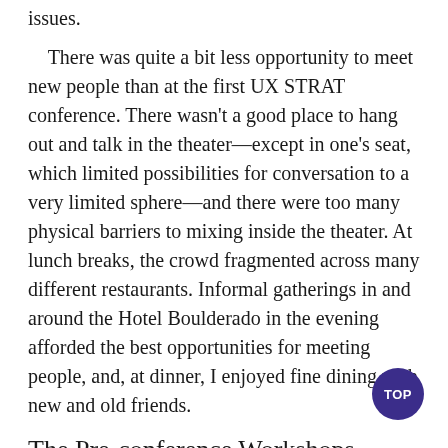issues.
There was quite a bit less opportunity to meet new people than at the first UX STRAT conference. There wasn't a good place to hang out and talk in the theater—except in one's seat, which limited possibilities for conversation to a very limited sphere—and there were too many physical barriers to mixing inside the theater. At lunch breaks, the crowd fragmented across many different restaurants. Informal gatherings in and around the Hotel Boulderado in the evening afforded the best opportunities for meeting people, and, at dinner, I enjoyed fine dining with new and old friends.
The Pre-conference Workshops
The pre-conference workshops that took place on Sunday, September 7, comprised one full-day workshops and seven half-day workshops.
Full-Day Workshops